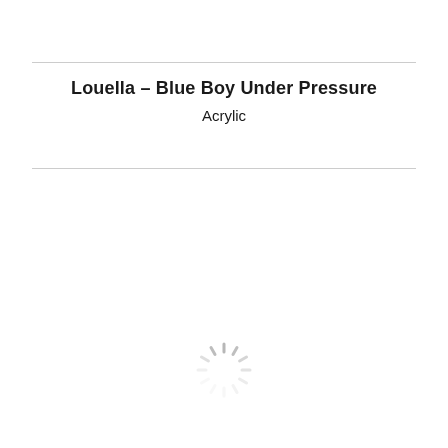Louella – Blue Boy Under Pressure
Acrylic
[Figure (other): Loading spinner icon — a circular arrangement of short radial lines in light gray, resembling a progress/loading indicator.]